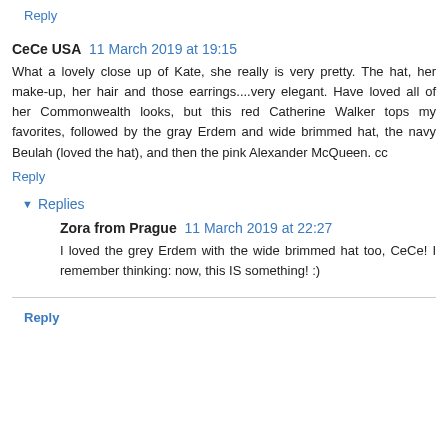Reply
CeCe USA  11 March 2019 at 19:15
What a lovely close up of Kate, she really is very pretty. The hat, her make-up, her hair and those earrings....very elegant. Have loved all of her Commonwealth looks, but this red Catherine Walker tops my favorites, followed by the gray Erdem and wide brimmed hat, the navy Beulah (loved the hat), and then the pink Alexander McQueen. cc
Reply
Replies
Zora from Prague  11 March 2019 at 22:27
I loved the grey Erdem with the wide brimmed hat too, CeCe! I remember thinking: now, this IS something! :)
Reply